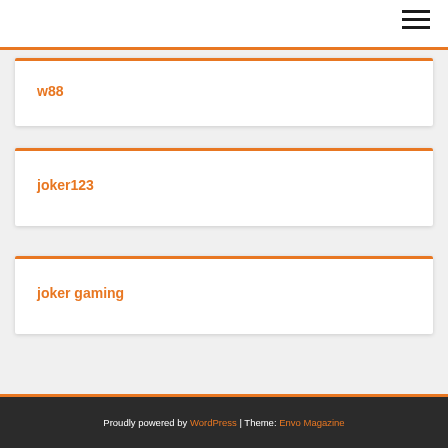w88
joker123
joker gaming
Proudly powered by WordPress | Theme: Envo Magazine